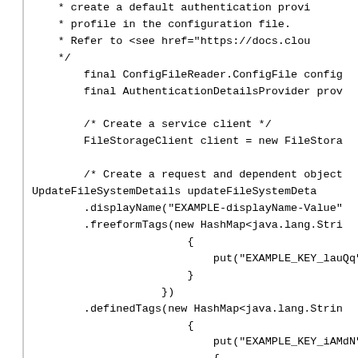[Figure (screenshot): Code snippet in Java showing creation of ConfigFileReader, AuthenticationDetailsProvider, FileStorageClient, and UpdateFileSystemDetails with displayName, freeformTags, and definedTags builder calls.]